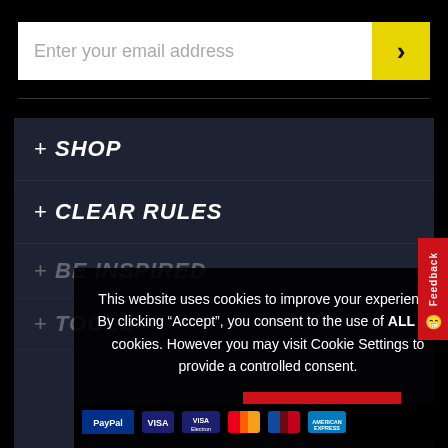Enter your email address
+ SHOP
+ CLEAR RULES
+ BE INSPIRED
+ TOOLS
This website uses cookies to improve your experience. By clicking “Accept”, you consent to the use of ALL the cookies. However you may visit Cookie Settings to provide a controlled consent.
Cookie Settings
ACCEPT
[Figure (infographic): Payment method icons: PayPal, VISA, VISA Electron, Mastercard, Maestro, American Express]
Feedback